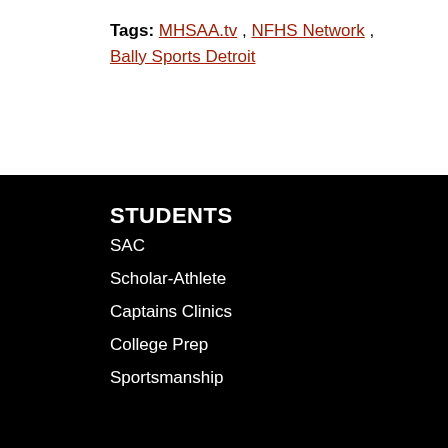Tags: MHSAA.tv , NFHS Network , Bally Sports Detroit
STUDENTS
SAC
Scholar-Athlete
Captains Clinics
College Prep
Sportsmanship